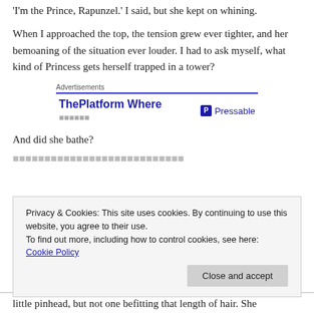'I'm the Prince, Rapunzel.' I said, but she kept on whining.
When I approached the top, the tension grew ever tighter, and her bemoaning of the situation ever louder. I had to ask myself, what kind of Princess gets herself trapped in a tower?
[Figure (screenshot): Advertisement box with 'Advertisements' label and blue top border. Shows 'ThePlatform Where' text in bold blue and 'Pressable' logo to the right.]
And did she bathe?
little pinhead, but not one befitting that length of hair. She
Privacy & Cookies: This site uses cookies. By continuing to use this website, you agree to their use.
To find out more, including how to control cookies, see here: Cookie Policy